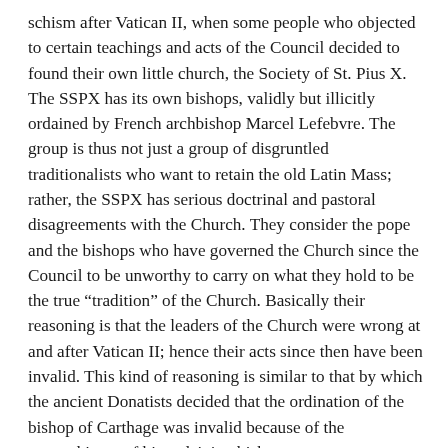schism after Vatican II, when some people who objected to certain teachings and acts of the Council decided to found their own little church, the Society of St. Pius X. The SSPX has its own bishops, validly but illicitly ordained by French archbishop Marcel Lefebvre. The group is thus not just a group of disgruntled traditionalists who want to retain the old Latin Mass; rather, the SSPX has serious doctrinal and pastoral disagreements with the Church. They consider the pope and the bishops who have governed the Church since the Council to be unworthy to carry on what they hold to be the true “tradition” of the Church. Basically their reasoning is that the leaders of the Church were wrong at and after Vatican II; hence their acts since then have been invalid. This kind of reasoning is similar to that by which the ancient Donatists decided that the ordination of the bishop of Carthage was invalid because of the unworthiness of his ordaining bishop.
But the truth is, of course, that sacraments correctly administered with the proper intention by a validly ordained